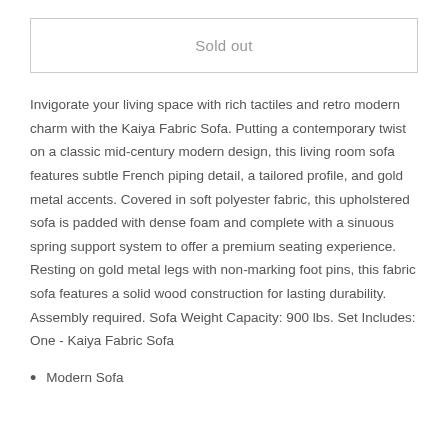Sold out
Invigorate your living space with rich tactiles and retro modern charm with the Kaiya Fabric Sofa. Putting a contemporary twist on a classic mid-century modern design, this living room sofa features subtle French piping detail, a tailored profile, and gold metal accents. Covered in soft polyester fabric, this upholstered sofa is padded with dense foam and complete with a sinuous spring support system to offer a premium seating experience. Resting on gold metal legs with non-marking foot pins, this fabric sofa features a solid wood construction for lasting durability. Assembly required. Sofa Weight Capacity: 900 lbs. Set Includes: One - Kaiya Fabric Sofa
Modern Sofa